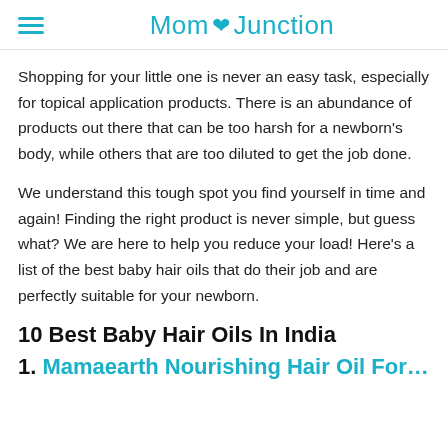Mom Junction
Shopping for your little one is never an easy task, especially for topical application products. There is an abundance of products out there that can be too harsh for a newborn's body, while others that are too diluted to get the job done.
We understand this tough spot you find yourself in time and again! Finding the right product is never simple, but guess what? We are here to help you reduce your load! Here's a list of the best baby hair oils that do their job and are perfectly suitable for your newborn.
10 Best Baby Hair Oils In India
1. Mamaearth Nourishing Hair Oil For…